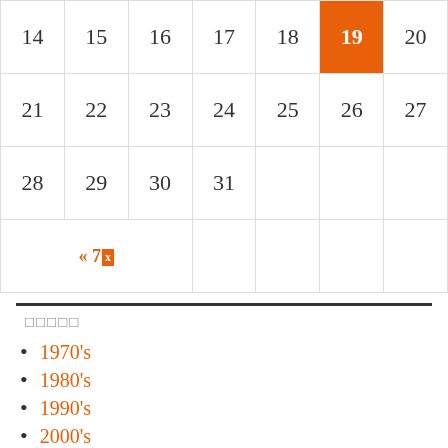| 14 | 15 | 16 | 17 | 18 | 19 | 20 |
| 21 | 22 | 23 | 24 | 25 | 26 | 27 |
| 28 | 29 | 30 | 31 |  |  |  |
| « 7x |  |  |  |  |  |  |
□□□□□
1970's
1980's
1990's
2000's
2010's